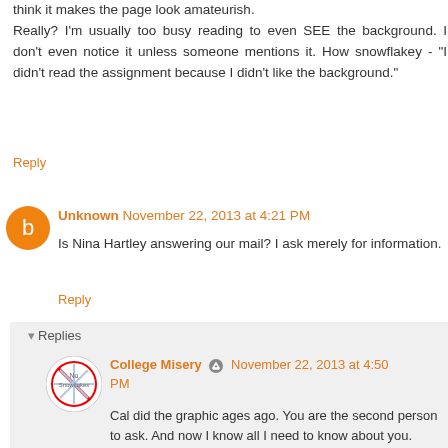think it makes the page look amateurish.
Really? I'm usually too busy reading to even SEE the background. I don't even notice it unless someone mentions it. How snowflakey - "I didn't read the assignment because I didn't like the background."
Reply
Unknown  November 22, 2013 at 4:21 PM
Is Nina Hartley answering our mail? I ask merely for information.
Reply
Replies
College Misery  November 22, 2013 at 4:50 PM
Cal did the graphic ages ago. You are the second person to ask. And now I know all I need to know about you.